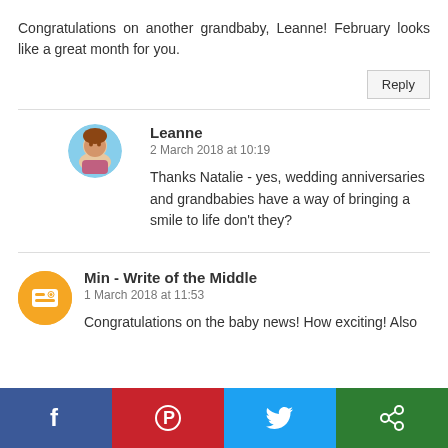Congratulations on another grandbaby, Leanne! February looks like a great month for you.
Reply
Leanne
2 March 2018 at 10:19
Thanks Natalie - yes, wedding anniversaries and grandbabies have a way of bringing a smile to life don't they?
Min - Write of the Middle
1 March 2018 at 11:53
Congratulations on the baby news! How exciting! Also
[Figure (infographic): Social sharing bar with Facebook, Pinterest, Twitter, and another share icon]